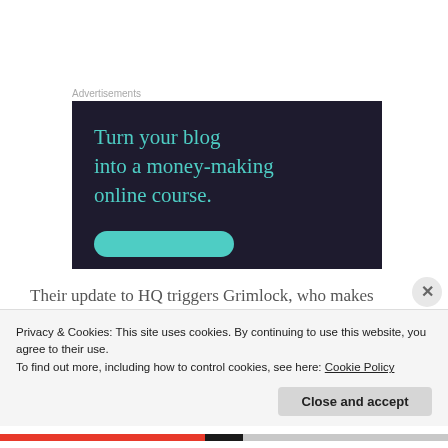Advertisements
[Figure (illustration): Advertisement banner with dark background showing text 'Turn your blog into a money-making online course.' in teal color, with a teal rounded button at the bottom.]
Their update to HQ triggers Grimlock, who makes
Privacy & Cookies: This site uses cookies. By continuing to use this website, you agree to their use.
To find out more, including how to control cookies, see here: Cookie Policy
Close and accept